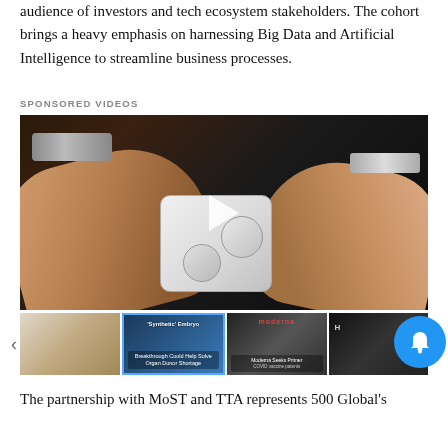audience of investors and tech ecosystem stakeholders. The cohort brings a heavy emphasis on harnessing Big Data and Artificial Intelligence to streamline business processes.
SPONSORED VIDEOS
[Figure (photo): Video player showing two hands holding a small white electronic device with circular buttons. A play button is overlaid in the center. The person on the left wears a metal watch, the person on the right wears a chain bracelet.]
[Figure (photo): Row of four video thumbnails: (1) hands with a white device on light background, (2) 'Synthetic Embryo — Breakthrough Could Help Solve Organ Donor Shortage' on blue background, (3) Moderna logo on dark background with text 'Moderna Seeks Primer' and 'COVID vaccine patents', (4) dark thumbnail partially visible. Arrow navigation on both sides. Blue notification bell button overlaid on right side.]
The partnership with MoST and TTA represents 500 Global's